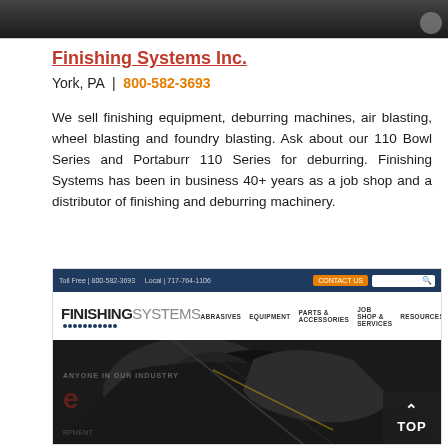[Figure (photo): Dark industrial machinery photo at top of page]
Finishing Systems Inc.
York, PA  |  800-582-3693
We sell finishing equipment, deburring machines, air blasting, wheel blasting and foundry blasting. Ask about our 110 Bowl Series and Portaburr 110 Series for deburring. Finishing Systems has been in business 40+ years as a job shop and a distributor of finishing and deburring machinery.
[Figure (screenshot): Screenshot of Finishing Systems Inc. website showing logo, navigation bar with ABRASIVES, EQUIPMENT, PARTS & ACCESSORIES, JOB SHOP & SERVICES, RESOURCES links, and hero image of industrial machinery]